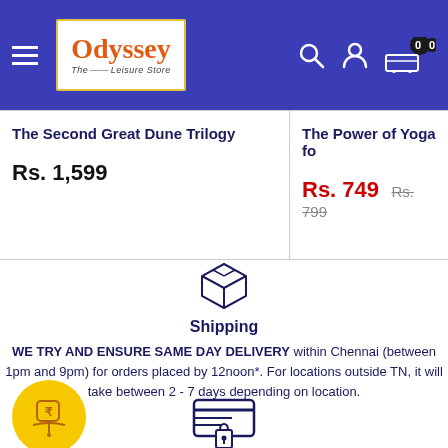Odyssey — The Leisure Store
The Second Great Dune Trilogy
Rs. 1,599
The Power of Yoga fo…
Rs. 749  Rs. 799
Shipping
WE TRY AND ENSURE SAME DAY DELIVERY within Chennai (between 1pm and 9pm) for orders placed by 12noon*. For locations outside TN, it will take between 2 - 7 days depending on location.
[Figure (illustration): Package/box shipping icon in dark blue outline style]
[Figure (illustration): Yellow circle badge with money bag and rupee symbol icon]
[Figure (illustration): Secure payment / credit card lock icon in dark blue]